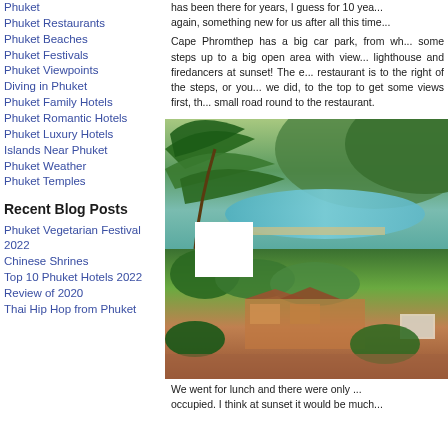Phuket
Phuket Restaurants
Phuket Beaches
Phuket Festivals
Phuket Viewpoints
Diving in Phuket
Phuket Family Hotels
Phuket Romantic Hotels
Phuket Luxury Hotels
Islands Near Phuket
Phuket Weather
Phuket Temples
Recent Blog Posts
Phuket Vegetarian Festival 2022
Chinese Shrines
Top 10 Phuket Hotels 2022
Review of 2020
Thai Hip Hop from Phuket
has been there for years, I guess for 10 yea... again, something new for us after all this time...
Cape Phromthep has a big car park, from wh... some steps up to a big open area with view... lighthouse and firedancers at sunset! The e... restaurant is to the right of the steps, or you... we did, to the top to get some views first, th... small road round to the restaurant.
[Figure (photo): Scenic coastal view from Cape Phromthep showing palm trees, turquoise bay, beach, hillside and outdoor restaurant/terrace area with lush greenery and mountains in background.]
We went for lunch and there were only ... occupied. I think at sunset it would be much...